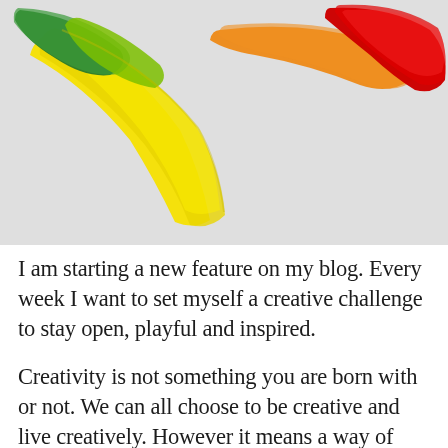[Figure (photo): Close-up photo of brightly colored paint smears on a white surface. Green paint on the upper left blending into yellow in the center, then orange, and a bold red smear on the upper right. The paints form sweeping curved strokes across the white background.]
I am starting a new feature on my blog. Every week I want to set myself a creative challenge to stay open, playful and inspired.
Creativity is not something you are born with or not. We can all choose to be creative and live creatively. However it means a way of living that requires effort, and it is not for